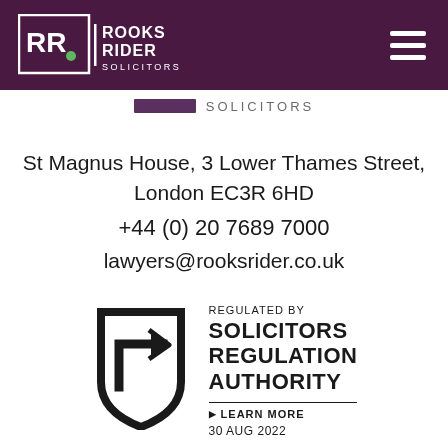[Figure (logo): Rooks Rider Solicitors logo on dark purple header bar with hamburger menu icon]
SOLICITORS
St Magnus House, 3 Lower Thames Street, London EC3R 6HD
+44 (0) 20 7689 7000
lawyers@rooksrider.co.uk
[Figure (logo): Solicitors Regulation Authority badge with shield and arrow icon, text: REGULATED BY SOLICITORS REGULATION AUTHORITY, LEARN MORE, 30 AUG 2022]